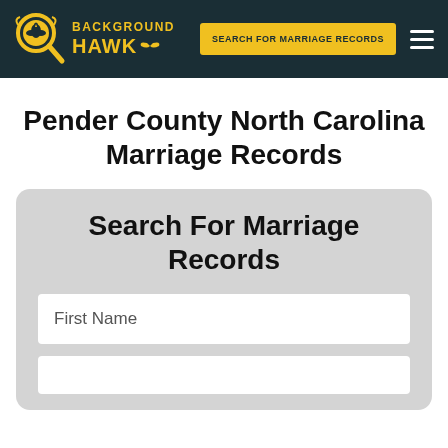BACKGROUND HAWK — SEARCH FOR MARRIAGE RECORDS
Pender County North Carolina Marriage Records
Search For Marriage Records
First Name